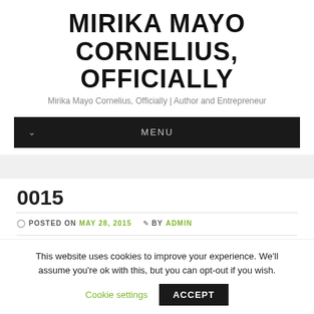MIRIKA MAYO CORNELIUS, OFFICIALLY
Mirika Mayo Cornelius, Officially | Author and Entrepreneur
MENU
0015
POSTED ON MAY 28, 2015  BY ADMIN
This website uses cookies to improve your experience. We'll assume you're ok with this, but you can opt-out if you wish.
Cookie settings   ACCEPT